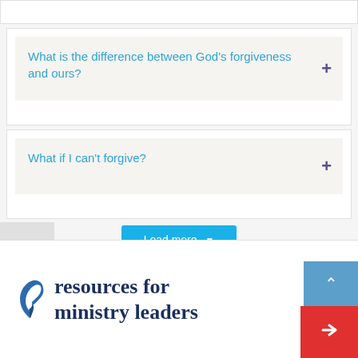What is the difference between God's forgiveness and ours?
What if I can't forgive?
Load more
resources for ministry leaders